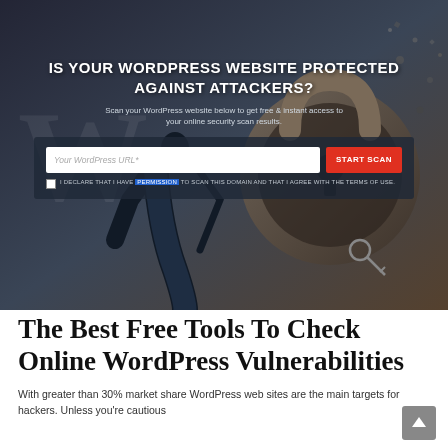[Figure (screenshot): WordPress security scanner hero banner with a man in a suit kicking a large padlock, dark moody background. Shows heading 'IS YOUR WORDPRESS WEBSITE PROTECTED AGAINST ATTACKERS?', subtext about scanning, a URL input field placeholder 'Your WordPress URL*', a red 'START SCAN' button, and a checkbox with declaration text about having permission to scan.]
The Best Free Tools To Check Online WordPress Vulnerabilities
With greater than 30% market share WordPress web sites are the main targets for hackers. Unless you're cautious